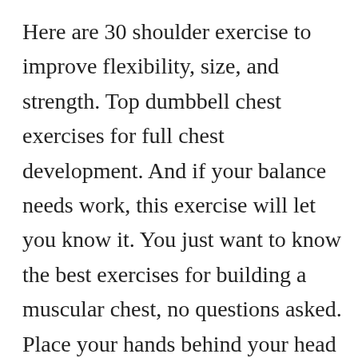Here are 30 shoulder exercise to improve flexibility, size, and strength. Top dumbbell chest exercises for full chest development. And if your balance needs work, this exercise will let you know it. You just want to know the best exercises for building a muscular chest, no questions asked. Place your hands behind your head and pull your elbows back until a comfortable stretch is felt in the chest. Exercise sets reps full body dumbbell step up 3 6 12 dumbbell stiff leg deadlift 3 6 12 seated dumbbell press 3 6 12 standing one leg dumbbell deflexion 3 10 20 dumbbell lunge 3